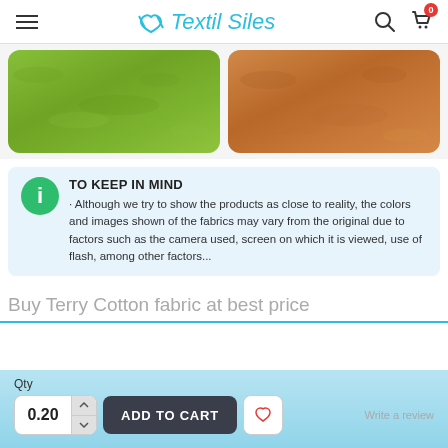Textil Siles
[Figure (photo): Two fabric texture photos side by side: left is green terry cotton fabric, right is brown/caramel terry cotton fabric]
TO KEEP IN MIND
· Although we try to show the products as close to reality, the colors and images shown of the fabrics may vary from the original due to factors such as the camera used, screen on which it is viewed, use of flash, among other factors...
Buy Terry Cotton fabric at best price
Qty
0.20
ADD TO CART